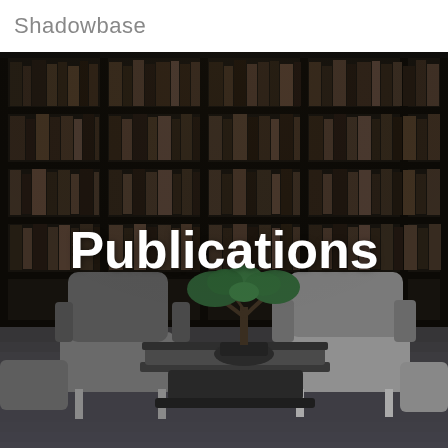Shadowbase
[Figure (photo): Dark library room with floor-to-ceiling bookshelves filled with books, and a modern sitting area featuring two grey armchairs, a low dark coffee table with a bonsai tree plant, and grey carpet flooring. The scene is dimly lit with dark tones.]
Publications